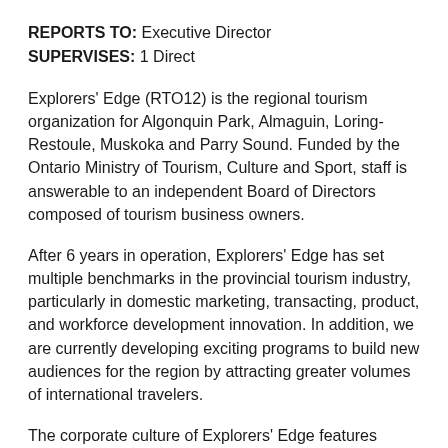REPORTS TO: Executive Director
SUPERVISES: 1 Direct
Explorers' Edge (RTO12) is the regional tourism organization for Algonquin Park, Almaguin, Loring-Restoule, Muskoka and Parry Sound. Funded by the Ontario Ministry of Tourism, Culture and Sport, staff is answerable to an independent Board of Directors composed of tourism business owners.
After 6 years in operation, Explorers' Edge has set multiple benchmarks in the provincial tourism industry, particularly in domestic marketing, transacting, product, and workforce development innovation. In addition, we are currently developing exciting programs to build new audiences for the region by attracting greater volumes of international travelers.
The corporate culture of Explorers' Edge features extreme dedication to the job and the stakeholders we serve, and includes equal doses of a fast pace, intensity, fun and